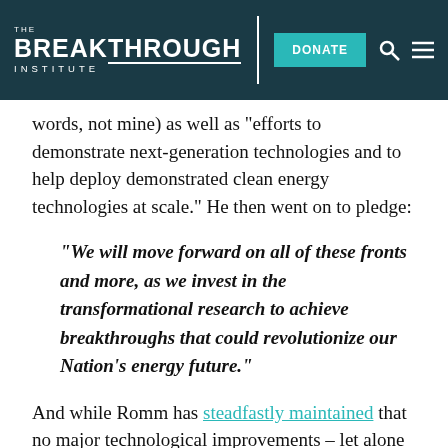THE BREAKTHROUGH INSTITUTE | DONATE
words, not mine) as well as "efforts to demonstrate next-generation technologies and to help deploy demonstrated clean energy technologies at scale." He then went on to pledge:
"We will move forward on all of these fronts and more, as we invest in the transformational research to achieve breakthroughs that could revolutionize our Nation's energy future."
And while Romm has steadfastly maintained that no major technological improvements – let alone